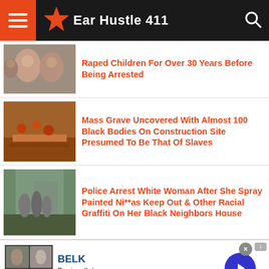Ear Hustle 411
Raped Children For Over 30 Years Before Being Arrested
Mass Grave Uncovered With Almost 100 Black Bodies On Construction Site Presumed To Be That Of Slaves
Police Arrest White Woman After She Spray Painted Ni**as Keep Out & Other Racial Graffiti On Her Black Neighbors House
BELK — Denim all day. www.belk.com